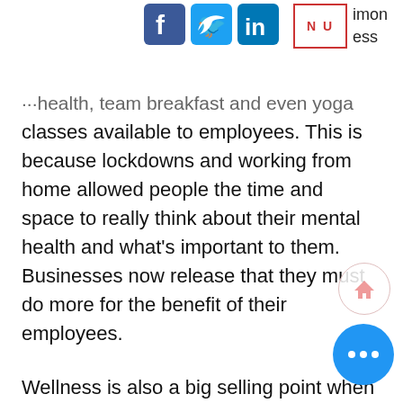[Figure (logo): Social media icons (Facebook, Twitter, LinkedIn) and a NU logo in a red-bordered box, with partial text 'imon' and 'ess' visible at right]
...health, team breakfast and even yoga classes available to employees. This is because lockdowns and working from home allowed people the time and space to really think about their mental health and what's important to them. Businesses now release that they must do more for the benefit of their employees.

Wellness is also a big selling point when recruiting and maintaining staff. To justify its existence, the workplace will have to be transformed from obligation to a destination. To make the workplace a destination status...